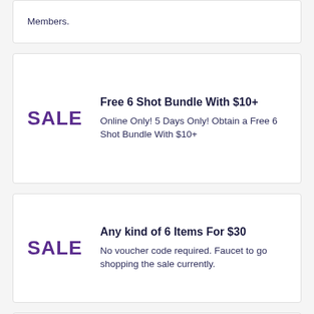Members.
Free 6 Shot Bundle With $10+
Online Only! 5 Days Only! Obtain a Free 6 Shot Bundle With $10+
Any kind of 6 Items For $30
No voucher code required. Faucet to go shopping the sale currently.